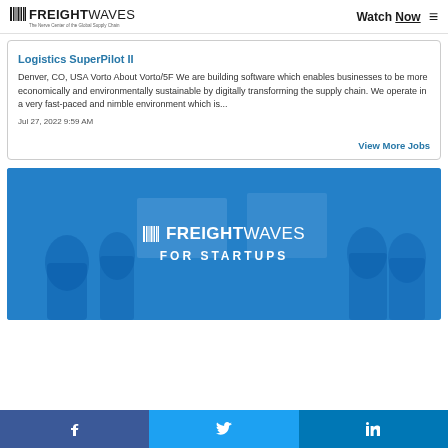FREIGHTWAVES — The Nerve Center of the Global Supply Chain | Watch Now
Logistics SuperPilot II
Denver, CO, USA Vorto About Vorto/5F We are building software which enables businesses to be more economically and environmentally sustainable by digitally transforming the supply chain. We operate in a very fast-paced and nimble environment which is...
Jul 27, 2022 9:59 AM
View More Jobs
[Figure (photo): FreightWaves For Startups banner with blue background showing silhouettes of people and the FreightWaves For Startups logo in white text]
Facebook | Twitter | LinkedIn social share buttons